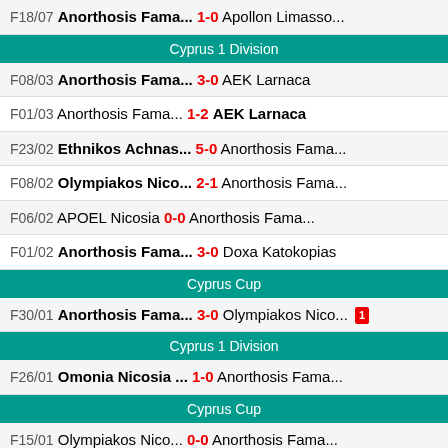F18/07 Anorthosis Fama... 1-0 Apollon Limasso...
Cyprus 1 Division
F08/03 Anorthosis Fama... 3-0 AEK Larnaca
F01/03 Anorthosis Fama... 1-2 AEK Larnaca
F23/02 Ethnikos Achnas... 5-0 Anorthosis Fama...
F08/02 Olympiakos Nico... 2-1 Anorthosis Fama...
F06/02 APOEL Nicosia 0-0 Anorthosis Fama...
F01/02 Anorthosis Fama... 3-0 Doxa Katokopias
Cyprus Cup
F30/01 Anorthosis Fama... 3-0 Olympiakos Nico... [1]
Cyprus 1 Division
F26/01 Omonia Nicosia ... 1-0 Anorthosis Fama...
Cyprus Cup
F15/01 Olympiakos Nico... 0-0 Anorthosis Fama...
Cyprus 1 Division
F12/01 Anorthosis Fama... 1-0 APOEL Nicosia
F07/01 AEP Paphos 0-3 Anorthosis Fama...
F15/12 Apollon Limasso... 2-0 Anorthosis Fama...